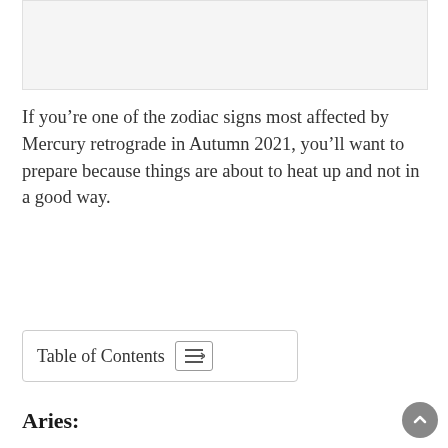[Figure (other): Image placeholder at top of page]
If you’re one of the zodiac signs most affected by Mercury retrograde in Autumn 2021, you’ll want to prepare because things are about to heat up and not in a good way.
Table of Contents
Aries: